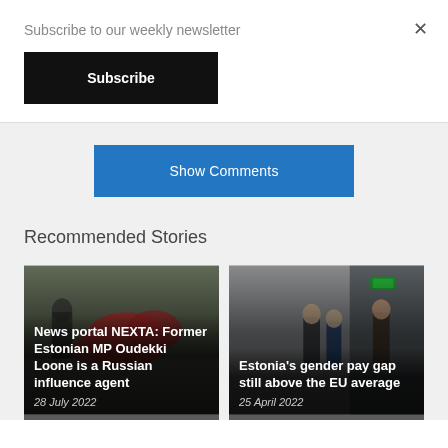Subscribe to our weekly newsletter
×
Subscribe
Show Comments
Recommended Stories
[Figure (photo): Photo of people with flowers, overlaid with headline: News portal NEXTA: Former Estonian MP Oudekki Loone is a Russian influence agent, dated 28 July 2022]
[Figure (photo): Photo of people in an office corridor, overlaid with headline: Estonia's gender pay gap still above the EU average, dated 25 April 2022]